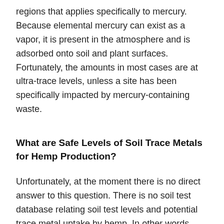regions that applies specifically to mercury. Because elemental mercury can exist as a vapor, it is present in the atmosphere and is adsorbed onto soil and plant surfaces. Fortunately, the amounts in most cases are at ultra-trace levels, unless a site has been specifically impacted by mercury-containing waste.
What are Safe Levels of Soil Trace Metals for Hemp Production?
Unfortunately, at the moment there is no direct answer to this question. There is no soil test database relating soil test levels and potential trace metal uptake by hemp. In other words, nobody can tell you how much arsenic or cadmium in a soil is too much at this point in time. In addition, some of the trace (heavy) metals